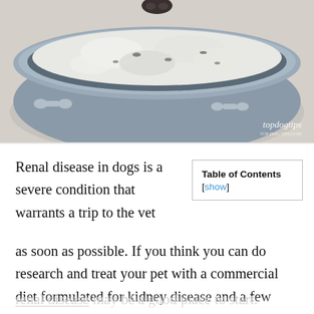[Figure (photo): A gray dog bowl with bone patterns on the side, filled with white/cream colored homemade dog food. Watermark 'topdogtips' visible in bottom right corner.]
Renal disease in dogs is a severe condition that warrants a trip to the vet as soon as possible. If you think you can do research and treat your pet with a commercial diet formulated for kidney disease and a few over-the-counter remedies, you are very wrong! Your vet will discuss treatments and diets with you, but this homemade dog food for the renal disease may be a good place to start.
| Table of Contents [show] |
| --- |